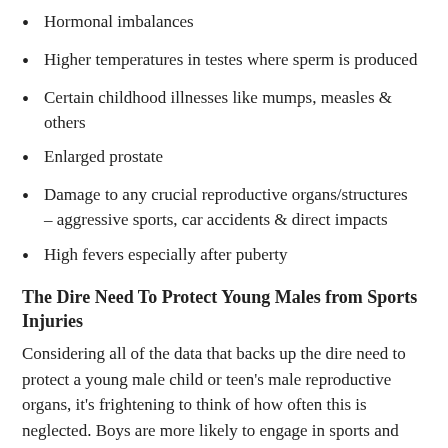Hormonal imbalances
Higher temperatures in testes where sperm is produced
Certain childhood illnesses like mumps, measles & others
Enlarged prostate
Damage to any crucial reproductive organs/structures – aggressive sports, car accidents & direct impacts
High fevers especially after puberty
The Dire Need To Protect Young Males from Sports Injuries
Considering all of the data that backs up the dire need to protect a young male child or teen's male reproductive organs, it's frightening to think of how often this is neglected. Boys are more likely to engage in sports and other activities where there is a lot of physical contact.